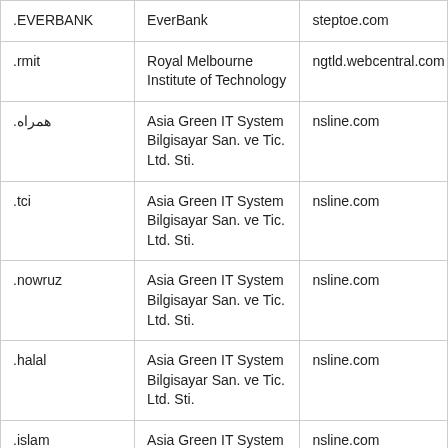| .EVERBANK | EverBank | steptoe.com |
| .rmit | Royal Melbourne Institute of Technology | ngtld.webcentral.com |
| .همراه | Asia Green IT System Bilgisayar San. ve Tic. Ltd. Sti. | nsline.com |
| .tci | Asia Green IT System Bilgisayar San. ve Tic. Ltd. Sti. | nsline.com |
| .nowruz | Asia Green IT System Bilgisayar San. ve Tic. Ltd. Sti. | nsline.com |
| .halal | Asia Green IT System Bilgisayar San. ve Tic. Ltd. Sti. | nsline.com |
| .islam | Asia Green IT System Bilgisayar San. ve Tic. Ltd. Sti. | nsline.com |